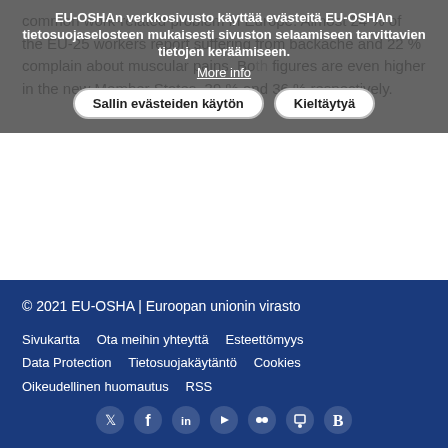common work-related problem in Europe. Almost 24 % of the EU-25 workers report suffering from backache and 22 % complain about muscular pains. Both figures are even higher in the new Member States, 39 % and 36 % respectively.
EU-OSHAn verkkosivusto käyttää evästeitä EU-OSHAn tietosuojaselosteen mukaisesti sivuston selaamiseen tarvittavien tietojen keräämiseen.
More info
Sallin evästeiden käytön | Kieltäytyä
Katso lisää →
© 2021 EU-OSHA | Euroopan unionin virasto
Sivukartta  Ota meihin yhteyttä  Esteettömyys
Data Protection  Tietosuojakäytäntö  Cookies
Oikeudellinen huomautus  RSS